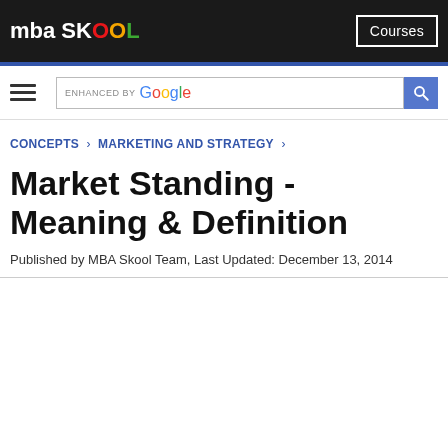mba SKOOL | Courses
CONCEPTS › MARKETING AND STRATEGY ›
Market Standing - Meaning & Definition
Published by MBA Skool Team, Last Updated: December 13, 2014